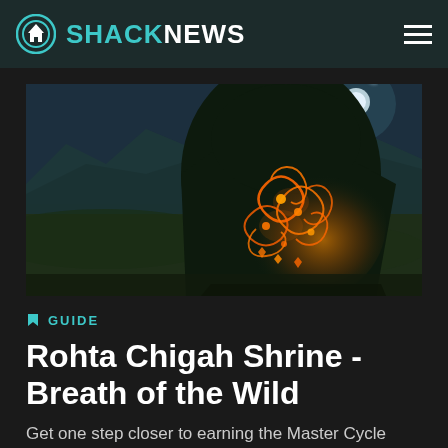SHACKNEWS
[Figure (screenshot): In-game screenshot from Breath of the Wild showing a large dark shrine structure with glowing orange tribal/runic patterns and markings on it, set in a nighttime environment with moonlight and mountain landscape in background]
GUIDE
Rohta Chigah Shrine - Breath of the Wild
Get one step closer to earning the Master Cycle Zero motorcycle by conquering the Rohta Chigah